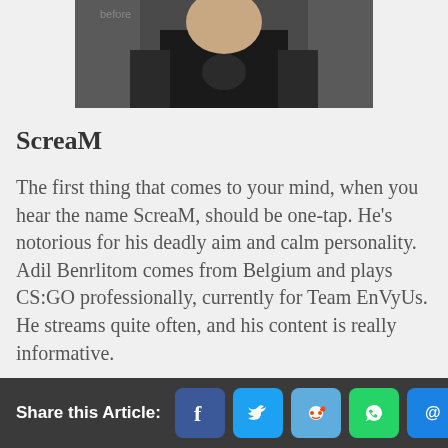[Figure (photo): Cropped photo of ScreaM (Adil Benrlitom), a CS:GO professional player, wearing a black jersey, partially visible at top of page]
ScreaM
The first thing that comes to your mind, when you hear the name ScreaM, should be one-tap. He’s notorious for his deadly aim and calm personality. Adil Benrlitom comes from Belgium and plays CS:GO professionally, currently for Team EnVyUs. He streams quite often, and his content is really informative.
www.twitch.tv/scream
Share this Article: